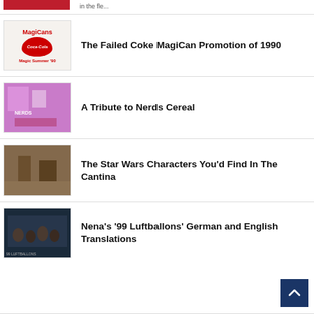[Figure (photo): Partial top image, red background with logo, partially cut off at top of page]
The Failed Coke MagiCan Promotion of 1990
A Tribute to Nerds Cereal
The Star Wars Characters You'd Find In The Cantina
Nena's '99 Luftballons' German and English Translations